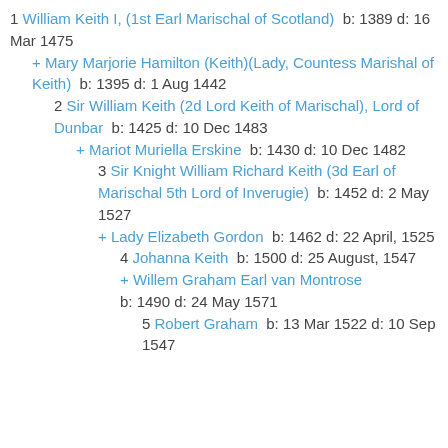1 William Keith I, (1st Earl Marischal of Scotland)  b: 1389 d: 16 Mar 1475
+ Mary Marjorie Hamilton (Keith)(Lady, Countess Marishal of Keith)  b: 1395 d: 1 Aug 1442
2 Sir William Keith (2d Lord Keith of Marischal), Lord of Dunbar  b: 1425 d: 10 Dec 1483
+ Mariot Muriella Erskine  b: 1430 d: 10 Dec 1482
3 Sir Knight William Richard Keith (3d Earl of Marischal 5th Lord of Inverugie)  b: 1452 d: 2 May 1527
+ Lady Elizabeth Gordon  b: 1462 d: 22 April, 1525
4 Johanna Keith  b: 1500 d: 25 August, 1547
+ Willem Graham Earl van Montrose  b: 1490 d: 24 May 1571
5 Robert Graham  b: 13 Mar 1522 d: 10 Sep 1547